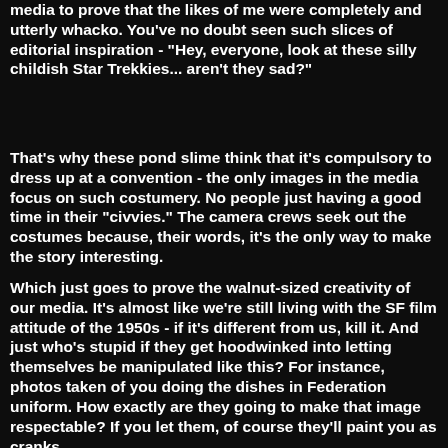media to prove that the likes of me were completely and utterly whacko. You've no doubt seen such slices of editorial inspiration - "Hey, everyone, look at these silly childish Star Trekkies... aren't they sad?"
That's why these pond slime think that it's compulsory to dress up at a convention - the only images in the media focus on such costumery. No people just having a good time in their "civvies." The camera crews seek out the costumes because, their words, it's the only way to make the story interesting.
Which just goes to prove the walnut-sized creativity of our media. It's almost like we're still living with the SF film attitude of the 1950s - if it's different from us, kill it. And just who's stupid if they get hoodwinked into letting themselves be manipulated like this? For instance, photos taken of you doing the dishes in Federation uniform. How exactly are they going to make that image respectable? If you let them, of course they'll paint you as cranks.